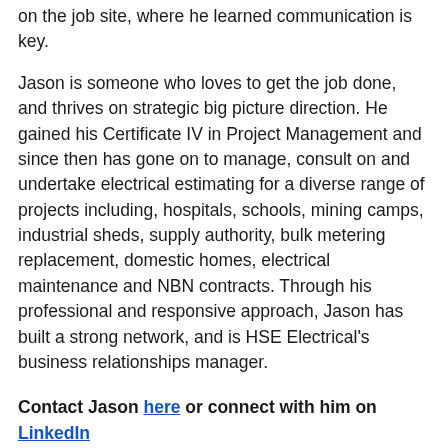on the job site, where he learned communication is key.
Jason is someone who loves to get the job done, and thrives on strategic big picture direction. He gained his Certificate IV in Project Management and since then has gone on to manage, consult on and undertake electrical estimating for a diverse range of projects including, hospitals, schools, mining camps, industrial sheds, supply authority, bulk metering replacement, domestic homes, electrical maintenance and NBN contracts. Through his professional and responsive approach, Jason has built a strong network, and is HSE Electrical's business relationships manager.
Contact Jason here or connect with him on LinkedIn